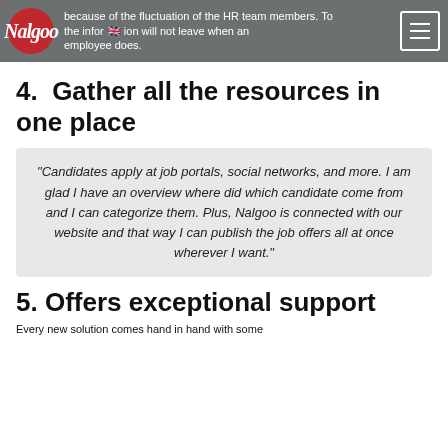because of the fluctuation of the HR team members. To the information will not leave when an employee does.
4. Gather all the resources in one place
“Candidates apply at job portals, social networks, and more. I am glad I have an overview where did which candidate come from and I can categorize them. Plus, Nalgoo is connected with our website and that way I can publish the job offers all at once wherever I want.”
5. Offers exceptional support
Every new solution comes hand in hand with some